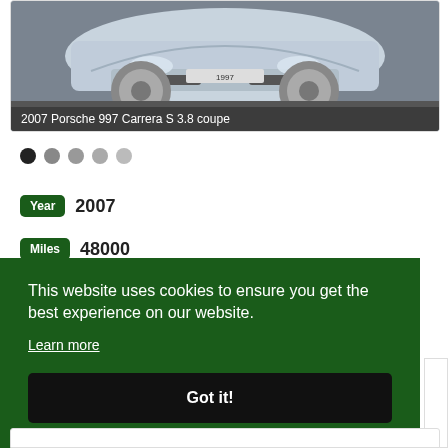[Figure (photo): Partial front view of a silver 2007 Porsche 997 Carrera S 3.8 coupe on a dark road surface]
2007 Porsche 997 Carrera S 3.8 coupe
Year 2007
Miles 48000
This website uses cookies to ensure you get the best experience on our website. Learn more Got it!